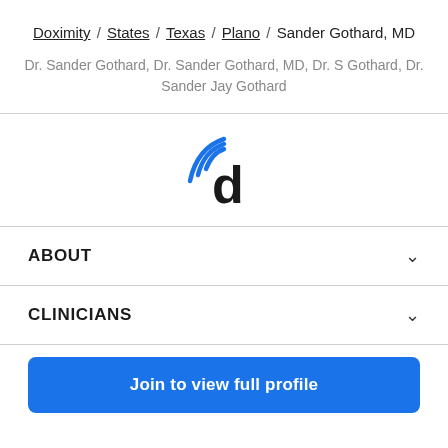Doximity / States / Texas / Plano / Sander Gothard, MD
Dr. Sander Gothard, Dr. Sander Gothard, MD, Dr. S Gothard, Dr. Sander Jay Gothard
[Figure (logo): Doximity logo: blue wifi-style signal arcs above a lowercase bold 'd' in dark/black]
ABOUT
CLINICIANS
Join to view full profile